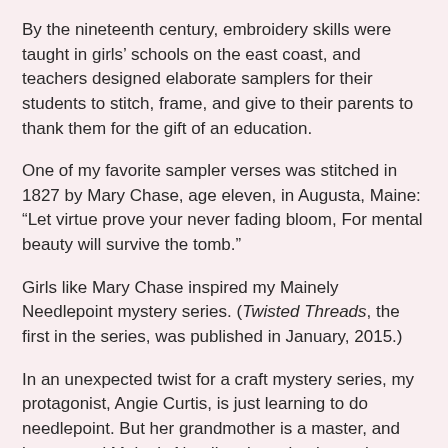By the nineteenth century, embroidery skills were taught in girls' schools on the east coast, and teachers designed elaborate samplers for their students to stitch, frame, and give to their parents to thank them for the gift of an education.
One of my favorite sampler verses was stitched in 1827 by Mary Chase, age eleven, in Augusta, Maine: “Let virtue prove your never fading bloom, For mental beauty will survive the tomb.”
Girls like Mary Chase inspired my Mainely Needlepoint mystery series. (Twisted Threads, the first in the series, was published in January, 2015.)
In an unexpected twist for a craft mystery series, my protagonist, Angie Curtis, is just learning to do needlepoint. But her grandmother is a master, and has started Mainely Needlepoint, a business that employs a variety of men and women in Haven Harbor, Maine, to do custom needlepoint and identify and restore antique needlepoint. (In Threads of Evidence, the second in the series, clues in needlepoint they are restoring give clues to a mysterious death in 1970.)
I love the (often depressing) verses on samplers, so I’ve